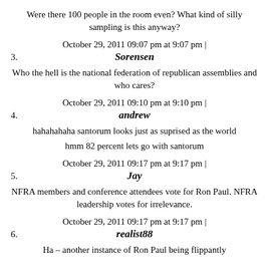Were there 100 people in the room even? What kind of silly sampling is this anyway?
October 29, 2011 09:07 pm at 9:07 pm |
3. Sorensen
Who the hell is the national federation of republican assemblies and who cares?
October 29, 2011 09:10 pm at 9:10 pm |
4. andrew
hahahahaha santorum looks just as suprised as the world
hmm 82 percent lets go with santorum
October 29, 2011 09:17 pm at 9:17 pm |
5. Jay
NFRA members and conference attendees vote for Ron Paul. NFRA leadership votes for irrelevance.
October 29, 2011 09:17 pm at 9:17 pm |
6. realist88
Ha – another instance of Ron Paul being flippantly